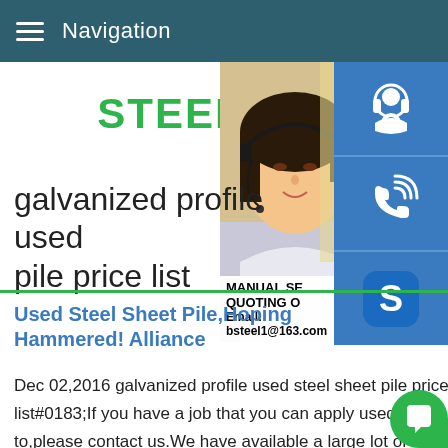Navigation
STEEL GR
galvanized profile used pile price list
[Figure (photo): Customer service representative with headset, side icon buttons for contact (headset, phone, Skype), and overlay text: MANUAL SE, QUOTING O, Email: bsteel1@163.com]
Used Steel Sheet Pile,Hoping Hammered! Alliance
Dec 02,2016 galvanized profile used steel sheet pile price list#0183;If you have a job that you can apply used sheet pile to,please contact us.We have available a large lot of used sheet pile in good condition.Sections include AZ18.AZ26-700.PZC18.PZ27.Lengths 25 to 50 ft,most in pairsStructural S